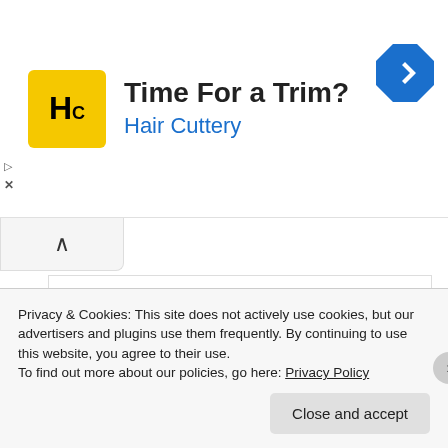[Figure (screenshot): Advertisement banner for Hair Cuttery with yellow HC logo, text 'Time For a Trim?' in bold black and 'Hair Cuttery' in blue, and a blue navigation diamond icon on the right.]
[Figure (logo): The Historian's Hut logo: dark red circle with a classical column above an open book, flanked by laurel branches, with text 'The Historian's Hut' in white.]
thehistorianshut
Privacy & Cookies: This site does not actively use cookies, but our advertisers and plugins use them frequently. By continuing to use this website, you agree to their use.
To find out more about our policies, go here: Privacy Policy